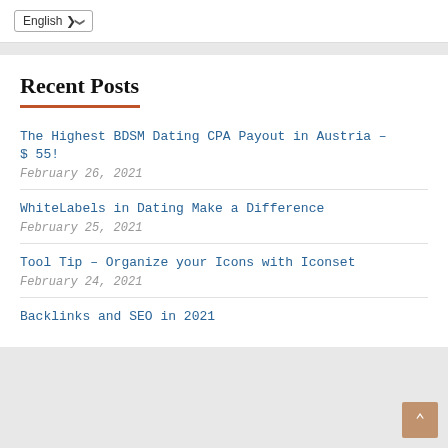English
Recent Posts
The Highest BDSM Dating CPA Payout in Austria – $ 55!
February 26, 2021
WhiteLabels in Dating Make a Difference
February 25, 2021
Tool Tip – Organize your Icons with Iconset
February 24, 2021
Backlinks and SEO in 2021